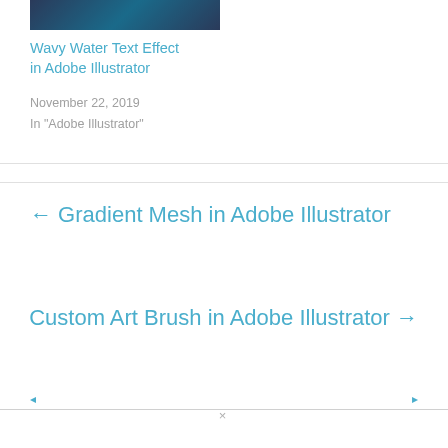[Figure (photo): Thumbnail image with dark blue/teal background showing wavy water text effect]
Wavy Water Text Effect in Adobe Illustrator
November 22, 2019
In "Adobe Illustrator"
← Gradient Mesh in Adobe Illustrator
Custom Art Brush in Adobe Illustrator →